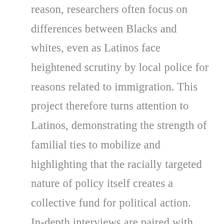reason, researchers often focus on differences between Blacks and whites, even as Latinos face heightened scrutiny by local police for reasons related to immigration. This project therefore turns attention to Latinos, demonstrating the strength of familial ties to mobilize and highlighting that the racially targeted nature of policy itself creates a collective fund for political action. In-depth interviews are paired with analysis of several surveys in order to centralize the voices of those most impacted by criminal justice policy. This story-telling approach